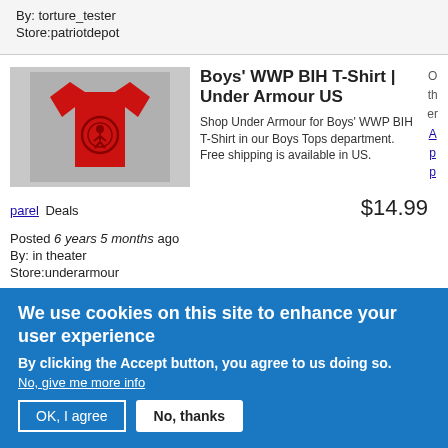By: torture_tester
Store:patriotdepot
[Figure (photo): Red Under Armour boys t-shirt on gray background]
Boys' WWP BIH T-Shirt | Under Armour US
Shop Under Armour for Boys' WWP BIH T-Shirt in our Boys Tops department. Free shipping is available in US.
O th er Ap p
parel Deals
$14.99
Posted 6 years 5 months ago
By: in theater
Store:underarmour
Molon Labe Shirt (Black)
O
We use cookies on this site to enhance your user experience
By clicking the Accept button, you agree to us doing so.
No, give me more info
OK, I agree
No, thanks